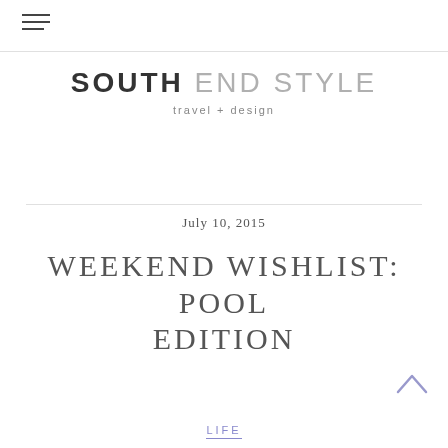South End Style — navigation menu icon
[Figure (logo): South End Style blog logo with tagline 'travel + design'. SOUTH in bold dark gray, END STYLE in light gray, all caps sans-serif.]
July 10, 2015
WEEKEND WISHLIST: POOL EDITION
LIFE